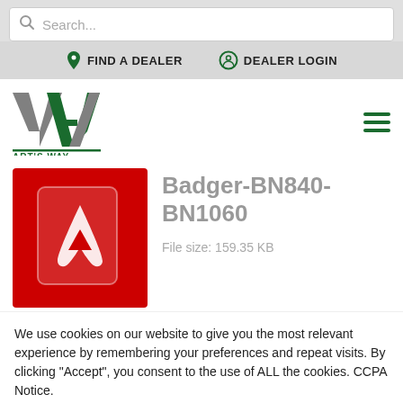Search...
FIND A DEALER   DEALER LOGIN
[Figure (logo): Art's Way logo with stylized A/W letters and text ART'S WAY below]
Badger-BN840-BN1060
File size: 159.35 KB
We use cookies on our website to give you the most relevant experience by remembering your preferences and repeat visits. By clicking “Accept”, you consent to the use of ALL the cookies. CCPA Notice.
Cookie Settings   Accept